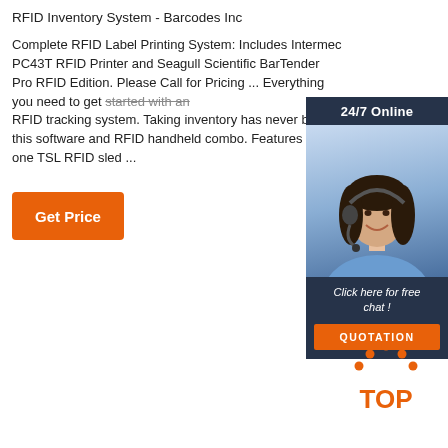RFID Inventory System - Barcodes Inc
Complete RFID Label Printing System: Includes Intermec PC43T RFID Printer and Seagull Scientific BarTender Pro RFID Edition. Please Call for Pricing ... Everything you need to get started with an RFID tracking system. Taking inventory has never b... this software and RFID handheld combo. Features b... one TSL RFID sled ...
[Figure (other): Orange 'Get Price' button]
[Figure (other): Live chat advertisement widget showing a customer service woman with headset. Header reads '24/7 Online'. Body says 'Click here for free chat!' with an orange QUOTATION button.]
[Figure (logo): Orange 'TOP' logo with dot pattern above the letters, indicating a back-to-top button.]